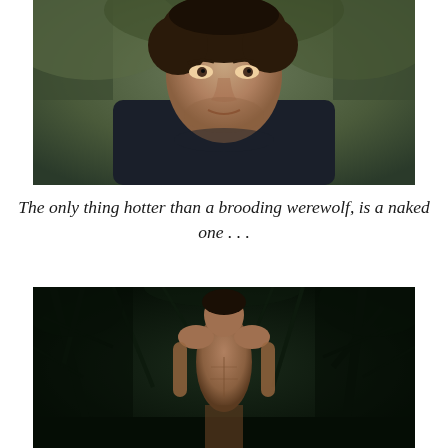[Figure (photo): Close-up portrait photo of a young man with dark brown hair, wearing a dark jacket, looking at camera with a serious brooding expression. Blurred green outdoor background.]
The only thing hotter than a brooding werewolf, is a naked one . . .
[Figure (photo): Dark night scene in a forest showing a shirtless man standing among trees, lit from the front with dark moody lighting, visible torso, surrounded by dark branches and foliage.]